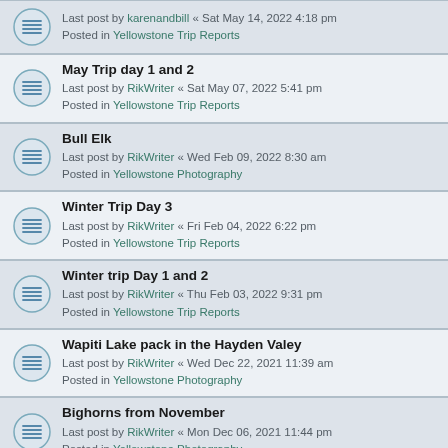Last post by karenandbill « Sat May 14, 2022 4:18 pm
Posted in Yellowstone Trip Reports
May Trip day 1 and 2
Last post by RikWriter « Sat May 07, 2022 5:41 pm
Posted in Yellowstone Trip Reports
Bull Elk
Last post by RikWriter « Wed Feb 09, 2022 8:30 am
Posted in Yellowstone Photography
Winter Trip Day 3
Last post by RikWriter « Fri Feb 04, 2022 6:22 pm
Posted in Yellowstone Trip Reports
Winter trip Day 1 and 2
Last post by RikWriter « Thu Feb 03, 2022 9:31 pm
Posted in Yellowstone Trip Reports
Wapiti Lake pack in the Hayden Valey
Last post by RikWriter « Wed Dec 22, 2021 11:39 am
Posted in Yellowstone Photography
Bighorns from November
Last post by RikWriter « Mon Dec 06, 2021 11:44 pm
Posted in Yellowstone Photography
3 Junction Butte Wolves killed in first week of Hunt
Last post by karenandbill « Tue Sep 28, 2021 10:26 pm
Posted in Yellowstone News
Pictures Added Scary Moose, Bear Encounter Glacier 6/21
Last post by karenandbill « Mon Jul 05, 2021 2:32 pm
Posted in Non Yellowstone Discussions